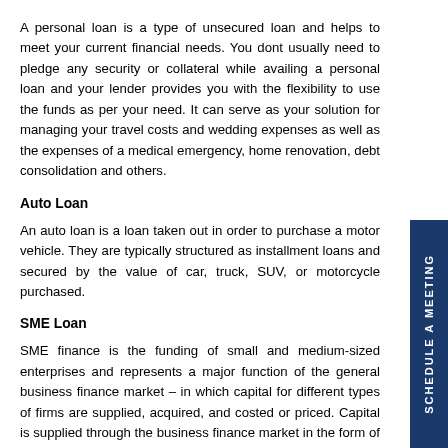A personal loan is a type of unsecured loan and helps to meet your current financial needs. You dont usually need to pledge any security or collateral while availing a personal loan and your lender provides you with the flexibility to use the funds as per your need. It can serve as your solution for managing your travel costs and wedding expenses as well as the expenses of a medical emergency, home renovation, debt consolidation and others.
Auto Loan
An auto loan is a loan taken out in order to purchase a motor vehicle. They are typically structured as installment loans and secured by the value of car, truck, SUV, or motorcycle purchased.
SME Loan
SME finance is the funding of small and medium-sized enterprises and represents a major function of the general business finance market – in which capital for different types of firms are supplied, acquired, and costed or priced. Capital is supplied through the business finance market in the form of bank loans and overdrafts; leasing and hire-purchase arrangements; equity/corporate